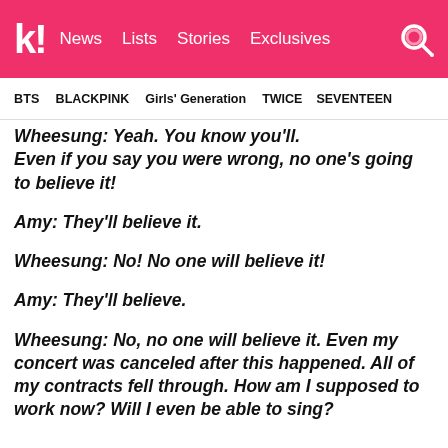k! News Lists Stories Exclusives
BTS BLACKPINK Girls' Generation TWICE SEVENTEEN
Wheesung: Yeah. You know you'll. Even if you say you were wrong, no one's going to believe it!
Amy: They'll believe it.
Wheesung: No! No one will believe it!
Amy: They'll believe.
Wheesung: No, no one will believe it. Even my concert was canceled after this happened. All of my contracts fell through. How am I supposed to work now? Will I even be able to sing?